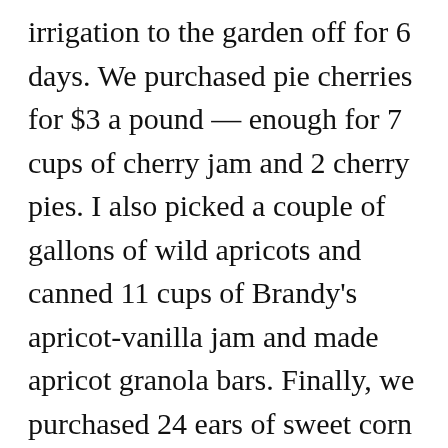irrigation to the garden off for 6 days. We purchased pie cherries for $3 a pound — enough for 7 cups of cherry jam and 2 cherry pies. I also picked a couple of gallons of wild apricots and canned 11 cups of Brandy's apricot-vanilla jam and made apricot granola bars. Finally, we purchased 24 ears of sweet corn from a local farmer. We ate some and I froze 3 very full quart freezer bags full of kernels. We stopped by a local Mennonite store and I was able to purchase oats, molasses,